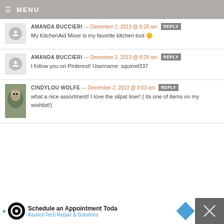MENU
AMANDA BUCCIERI — December 2, 2013 @ 8:28 am  REPLY
My KitchenAid Mixer is my favorite kitchen tool 🙂
AMANDA BUCCIERI — December 2, 2013 @ 8:29 am  REPLY
I follow you on Pinterest! Username: squirrel337
CINDYLOU WOLFE — December 2, 2013 @ 9:03 am  REPLY
what a nice assortment! I love the silpat liner! ( its one of items on my wishlist!)
Schedule an Appointment Toda  AsurionTech Repair & Solutions